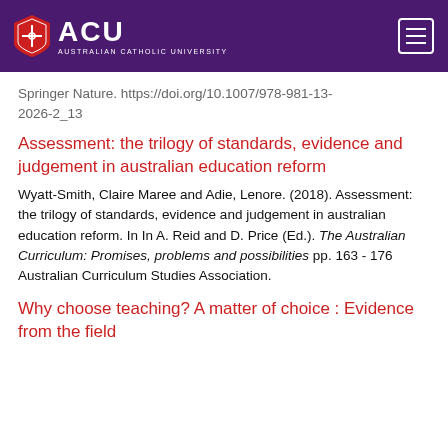[Figure (logo): ACU Australian Catholic University logo and navigation header on purple background]
Springer Nature. https://doi.org/10.1007/978-981-13-2026-2_13
Assessment: the trilogy of standards, evidence and judgement in australian education reform
Wyatt-Smith, Claire Maree and Adie, Lenore. (2018). Assessment: the trilogy of standards, evidence and judgement in australian education reform. In In A. Reid and D. Price (Ed.). The Australian Curriculum: Promises, problems and possibilities pp. 163 - 176 Australian Curriculum Studies Association.
Why choose teaching? A matter of choice : Evidence from the field